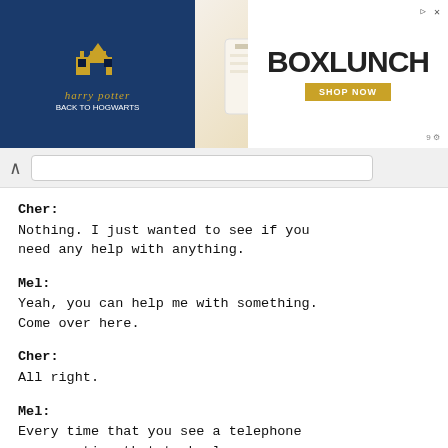[Figure (screenshot): BoxLunch Harry Potter ad banner at top of page]
Cher:
Nothing. I just wanted to see if you need any help with anything.
Mel:
Yeah, you can help me with something. Come over here.
Cher:
All right.
Mel:
Every time that you see a telephone conversation that took place on September 3rd, highlight it.
Cher:
Just September 3rd. O.K.
Mel:
It's fun, huh?